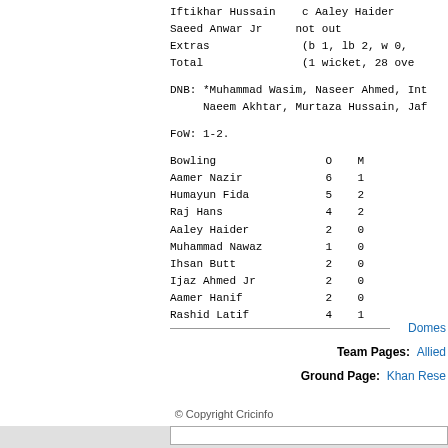| Iftikhar Hussain | c Aaley Haider |
| Saeed Anwar Jr | not out |
| Extras | (b 1, lb 2, w 0, |
| Total | (1 wicket, 28 ove |
DNB: *Muhammad Wasim, Naseer Ahmed, Int      Naeem Akhtar, Murtaza Hussain, Jaf
FoW: 1-2.
| Bowling | O | M |
| --- | --- | --- |
| Aamer Nazir | 6 | 1 |
| Humayun Fida | 5 | 2 |
| Raj Hans | 4 | 2 |
| Aaley Haider | 2 | 0 |
| Muhammad Nawaz | 1 | 0 |
| Ihsan Butt | 2 | 0 |
| Ijaz Ahmed Jr | 2 | 0 |
| Aamer Hanif | 2 | 0 |
| Rashid Latif | 4 | 1 |
Domes
Team Pages: Allied
Ground Page: Khan Rese
© Copyright Cricinfo